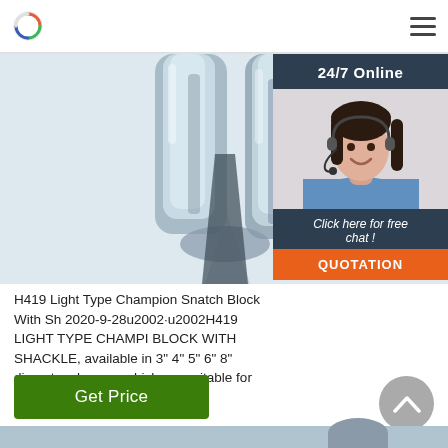[Figure (photo): Close-up of metallic snatch block hardware with two silver/steel V-shaped shackle components on white background]
[Figure (photo): 24/7 Online customer service agent - woman with headset smiling, with Click here for free chat and QUOTATION button overlay]
H419 Light Type Champion Snatch Block With Sh 2020-9-28u2002·u2002H419 LIGHT TYPE CHAMPI BLOCK WITH SHACKLE, available in 3" 4" 5" 6" 8" diameter sheaves which are suitable for ropes 1 18mm 24mm 28mm
Get Price
[Figure (photo): Partial bottom view of another metallic product component]